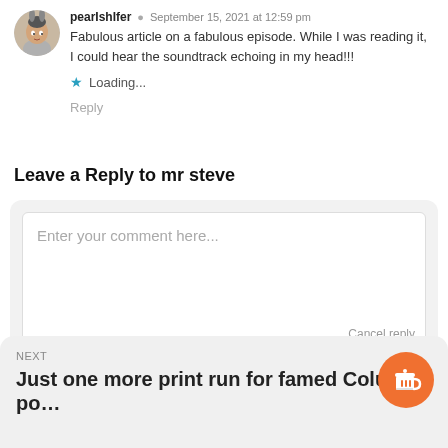pearIshIfer · September 15, 2021 at 12:59 pm
Fabulous article on a fabulous episode. While I was reading it, I could hear the soundtrack echoing in my head!!!
★ Loading...
Reply
Leave a Reply to mr steve
Enter your comment here...
Cancel reply
NEXT
Just one more print run for famed Columbo po...